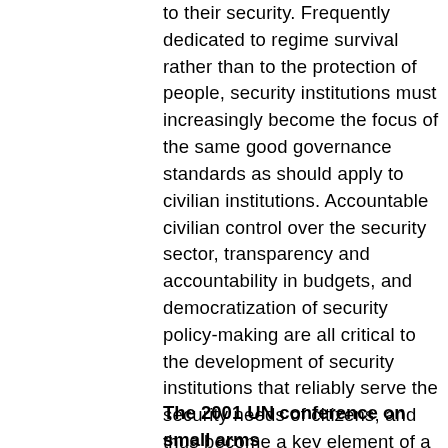to their security. Frequently dedicated to regime survival rather than to the protection of people, security institutions must increasingly become the focus of the same good governance standards as should apply to civilian institutions. Accountable civilian control over the security sector, transparency and accountability in budgets, and democratization of security policy-making are all critical to the development of security institutions that reliably serve the security needs of citizens, and thus become a key element of a society's effort to reduce demand for private ownership of weapons.
The 2001 UN conference on small arms